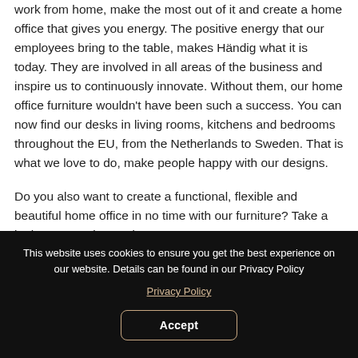work from home, make the most out of it and create a home office that gives you energy. The positive energy that our employees bring to the table, makes Händig what it is today. They are involved in all areas of the business and inspire us to continuously innovate. Without them, our home office furniture wouldn't have been such a success. You can now find our desks in living rooms, kitchens and bedrooms throughout the EU, from the Netherlands to Sweden. That is what we love to do, make people happy with our designs.
Do you also want to create a functional, flexible and beautiful home office in no time with our furniture? Take a look at our entire product range
This website uses cookies to ensure you get the best experience on our website. Details can be found in our Privacy Policy
Privacy Policy
Accept